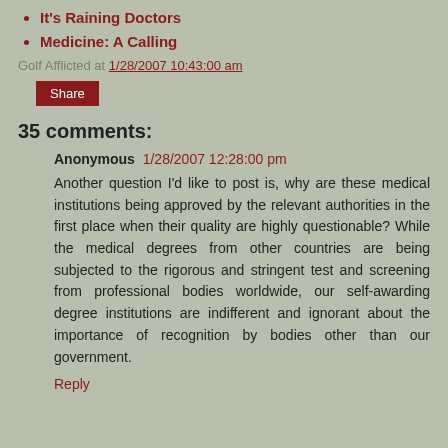It's Raining Doctors
Medicine: A Calling
Golf Afflicted at 1/28/2007 10:43:00 am
Share
35 comments:
Anonymous  1/28/2007 12:28:00 pm
Another question I'd like to post is, why are these medical institutions being approved by the relevant authorities in the first place when their quality are highly questionable? While the medical degrees from other countries are being subjected to the rigorous and stringent test and screening from professional bodies worldwide, our self-awarding degree institutions are indifferent and ignorant about the importance of recognition by bodies other than our government.
Reply